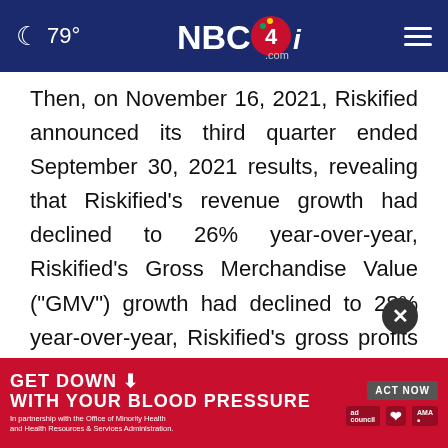79° NBC4i.com
Then, on November 16, 2021, Riskified announced its third quarter ended September 30, 2021 results, revealing that Riskified's revenue growth had declined to 26% year-over-year, Riskified's Gross Merchandise Value ("GMV") growth had declined to 28% year-over-year, Riskified's gross profits had increased only 10% year-over-year, Riskified's gross profit margins had plummeted to just 46% during the quarter, fell sequentially to $24.2 million. Further Riskified...
[Figure (screenshot): Advertisement banner: GET DOWN WITH YOUR BLOOD PRESSURE - ACT NOW, with ad council, heart, and AMA logos]